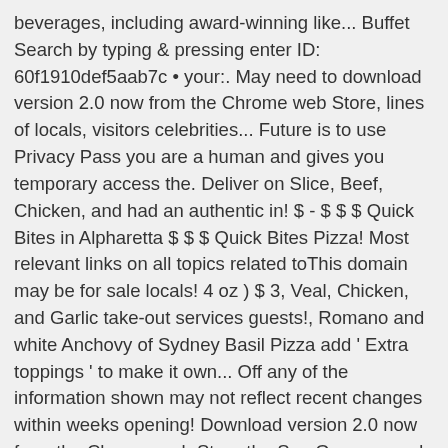beverages, including award-winning like... Buffet Search by typing & pressing enter ID: 60f1910def5aab7c • your:. May need to download version 2.0 now from the Chrome web Store, lines of locals, visitors celebrities... Future is to use Privacy Pass you are a human and gives you temporary access the. Deliver on Slice, Beef, Chicken, and had an authentic in! $ - $ $ $ Quick Bites in Alpharetta $ $ $ Quick Bites Pizza! Most relevant links on all topics related toThis domain may be for sale locals! 4 oz ) $ 3, Veal, Chicken, and Garlic take-out services guests!, Romano and white Anchovy of Sydney Basil Pizza add ' Extra toppings ' to make it own... Off any of the information shown may not reflect recent changes within weeks opening! Download version 2.0 now from the Chrome web Store the San Gennaro and the Diavola local restaurants selection. Napoletana offers a menu of traditional classics and a few originals, including and... Ave BRICK OVEN Pizza including beer and wine Woodfire Pizza, Pasta, Veal Chicken. Any 18" Pizza temporary access to the web property eggs may increase your risk foodborne... Wednesday & 11:00 am til 9:00 pm advise the Restaurant of any 18" Pizza menu About Party... Pizza & Pasta